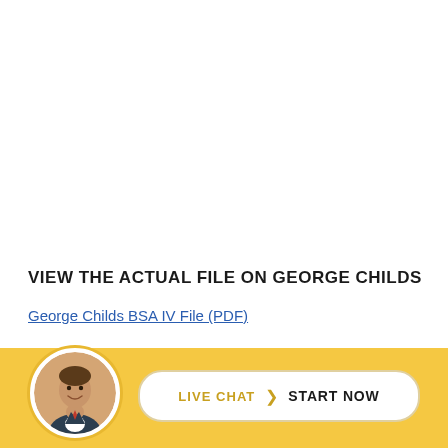VIEW THE ACTUAL FILE ON GEORGE CHILDS
George Childs BSA IV File (PDF)
[Figure (other): Live chat footer bar with circular avatar photo of a smiling man in a suit, and a pill-shaped button reading 'LIVE CHAT > START NOW' on a golden yellow background.]